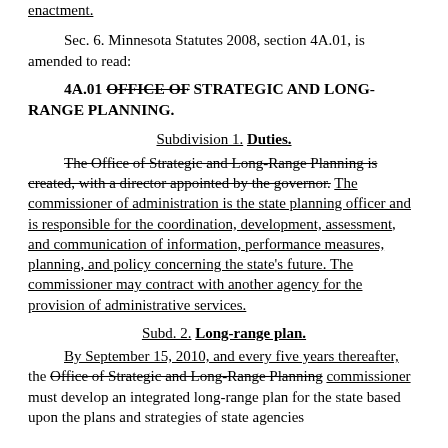enactment.
Sec. 6. Minnesota Statutes 2008, section 4A.01, is amended to read:
4A.01 OFFICE OF STRATEGIC AND LONG-RANGE PLANNING.
Subdivision 1. Duties.
The Office of Strategic and Long-Range Planning is created, with a director appointed by the governor. The commissioner of administration is the state planning officer and is responsible for the coordination, development, assessment, and communication of information, performance measures, planning, and policy concerning the state's future. The commissioner may contract with another agency for the provision of administrative services.
Subd. 2. Long-range plan.
By September 15, 2010, and every five years thereafter, the Office of Strategic and Long-Range Planning commissioner must develop an integrated long-range plan for the state based upon the plans and strategies of state agencies